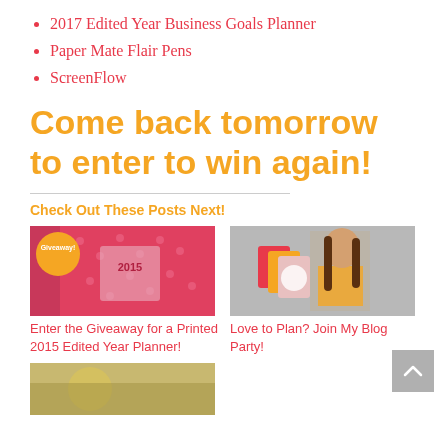2017 Edited Year Business Goals Planner
Paper Mate Flair Pens
ScreenFlow
Come back tomorrow to enter to win again!
Check Out These Posts Next!
[Figure (photo): Giveaway image showing a printed 2015 Edited Year Planner with polka dot cover and 'Giveaway!' badge]
Enter the Giveaway for a Printed 2015 Edited Year Planner!
[Figure (photo): Young woman holding colorful planners/notebooks, smiling with surprise expression]
Love to Plan? Join My Blog Party!
[Figure (photo): Bottom partial image, partially cut off]